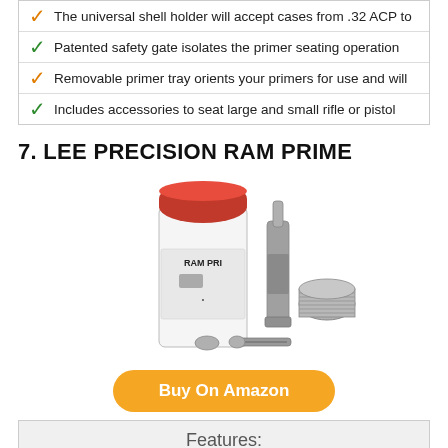The universal shell holder will accept cases from .32 ACP to
Patented safety gate isolates the primer seating operation
Removable primer tray orients your primers for use and will
Includes accessories to seat large and small rifle or pistol
7. LEE PRECISION RAM PRIME
[Figure (photo): Lee Precision Ram Prime product photo showing a cylindrical container with red cap labeled RAM PRIME, along with metal tool components including a long cylindrical tool, a threaded adapter, a small disc, and a screw]
Buy On Amazon
Features:
Made in USA